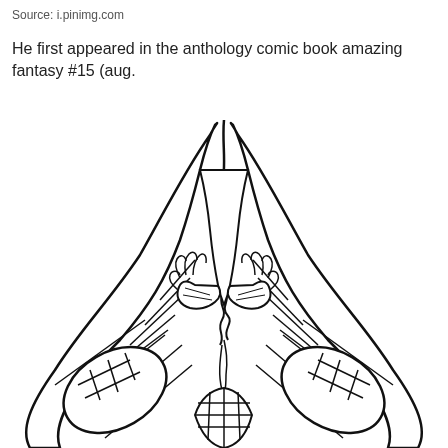Source: i.pinimg.com
He first appeared in the anthology comic book amazing fantasy #15 (aug.
[Figure (illustration): Line drawing illustration of Spider-Man's legs and torso from a first-person perspective, showing the character swinging on a web/rope, with the characteristic spider-suit grid pattern visible on the legs and hands gripping a web line.]